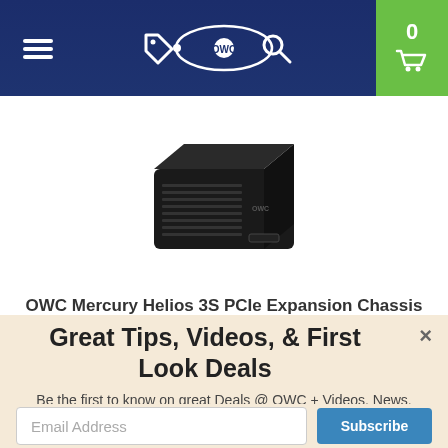OWC navigation bar with menu, tag, OWC logo, search, and cart (0)
[Figure (photo): OWC Mercury Helios 3S PCIe Expansion Chassis product photo — black rectangular desktop box with front vents and OWC logo]
OWC Mercury Helios 3S PCIe Expansion Chassis
Great Tips, Videos, & First Look Deals
Be the first to know on great Deals @ OWC + Videos, News, Quick Tips, and more from your friends at OWC. Since 1988!
Email Address
Subscribe